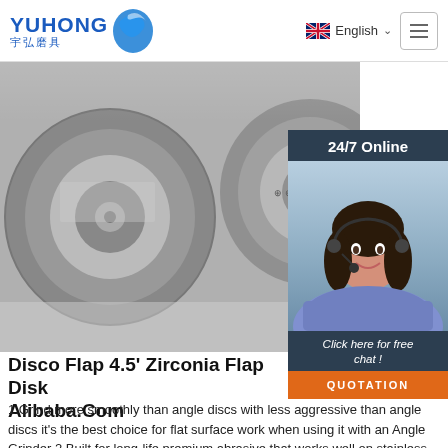YUHONG 宇弘磨具 | English
[Figure (photo): Close-up photo of gray metallic grinding/flap discs stacked together]
[Figure (photo): 24/7 Online chat panel with a smiling female customer service agent wearing a headset, with 'Click here for free chat!' text and QUOTATION button]
Disco Flap 4.5' Zirconia Flap Disk ... Alibaba.Com
1.Grind more smoothly than angle discs with less aggressive than angle discs it's the best choice for flat surface work when using it with an Angle Grinder 2.Built for long-life premium abrasive that works well on stainless steel, hard steel, titanium and various others. 3.Zirconia Flap Disc continually produces new sharp points, creating faster cutting and a longer lifespan than …